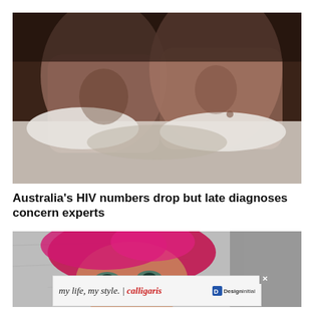[Figure (photo): Two shirtless men lying in bed under white sheets, photographed from the chest up in a dark, moody setting.]
Australia's HIV numbers drop but late diagnoses concern experts
[Figure (photo): Close-up of a person wearing a bright red/pink head covering with dramatic makeup, against a metallic silver background.]
my life, my style. | calligaris